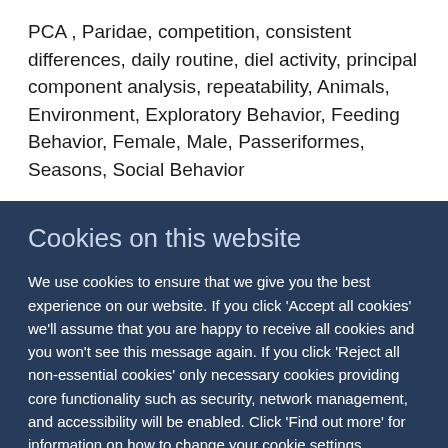PCA , Paridae, competition, consistent differences, daily routine, diel activity, principal component analysis, repeatability, Animals, Environment, Exploratory Behavior, Feeding Behavior, Female, Male, Passeriformes, Seasons, Social Behavior
Cookies on this website
We use cookies to ensure that we give you the best experience on our website. If you click 'Accept all cookies' we'll assume that you are happy to receive all cookies and you won't see this message again. If you click 'Reject all non-essential cookies' only necessary cookies providing core functionality such as security, network management, and accessibility will be enabled. Click 'Find out more' for information on how to change your cookie settings.